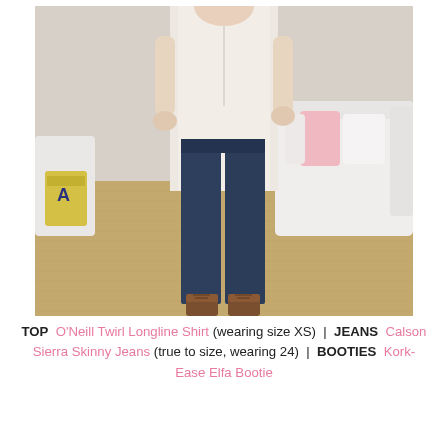[Figure (photo): A woman standing in a living room wearing a white longline button-up shirt, dark blue skinny jeans, and brown lace-up ankle booties. Behind her is a white sofa with pink and white pillows, a jute rug on the floor, and a tall cactus plant in the corner.]
TOP  O'Neill Twirl Longline Shirt (wearing size XS)  |  JEANS  Calson Sierra Skinny Jeans (true to size, wearing 24)  |  BOOTIES  Kork-Ease Elfa Bootie